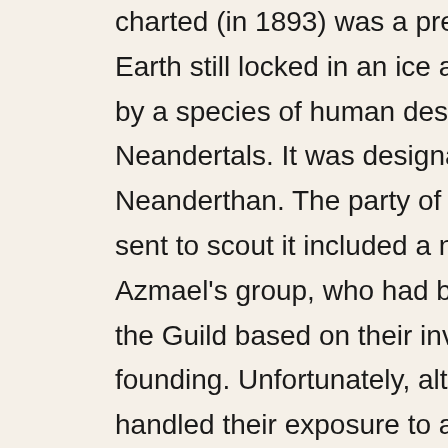charted (in 1893) was a pre-agricultural Earth still locked in an ice age and inhabited by a species of human descended from Neandertals. It was designated as Neanderthan. The party of Metaphysicians sent to scout it included a number of Azmael's group, who had been inducted into the Guild based on their involvement in its founding. Unfortunately, although they had handled their exposure to a more advanced society well, they were still afflicted with the prejudices of the 19th century
[Figure (logo): Scribd/Manage logo - hexagonal blue logo with 'Manage' text on a curled page corner]